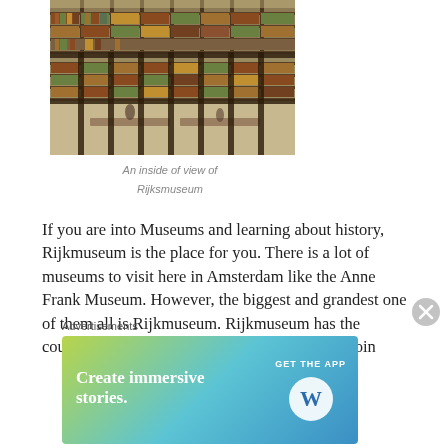[Figure (photo): Interior view of the Rijksmuseum library, showing tall multi-story bookshelves, iron balconies and railings, and visitors below on the floor level.]
An inside of view of Rijksmuseum
If you are into Museums and learning about history, Rijkmuseum is the place for you. There is a lot of museums to visit here in Amsterdam like the Anne Frank Museum. However, the biggest and grandest one of them all is Rijkmuseum. Rijkmuseum has the country’s finest art just waiting for you to see. Join
Advertisements
[Figure (screenshot): WordPress advertisement banner: 'Create immersive stories.' with GET THE APP button and WordPress logo on a blue-green gradient background.]